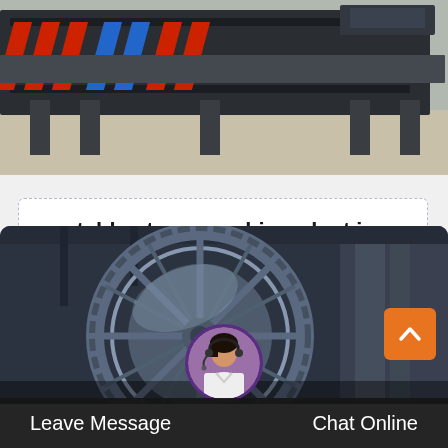[Figure (photo): Top portion of a stone crushing / conveyor machinery in an industrial yard, with red and blue decorative elements visible on a dark metal frame.]
portable stone crushing plant in u…
Aggregate stone sand crusher in dubai for quarry, mining . offer a range of jaw crusher, impact crusher, gyratory crusher,...
[Figure (photo): Industrial ball mill / large rotating gear machinery photographed inside a factory, shown in blue-grey tones.]
Leave Message
Chat Online